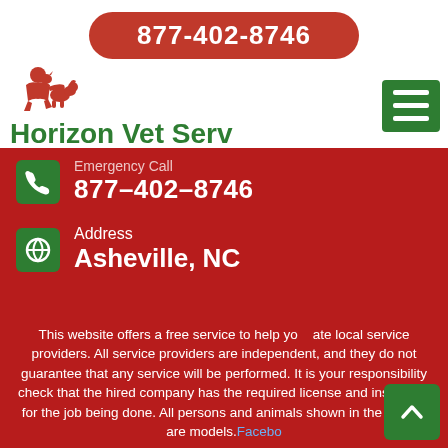877-402-8746
[Figure (logo): Horizon Vet Serv logo with red silhouette of person with animals and green brand text]
Emergency Call 877-402-8746
Address Asheville, NC
This website offers a free service to help you locate local service providers. All service providers are independent, and they do not guarantee that any service will be performed. It is your responsibility check that the hired company has the required license and insurance for the job being done. All persons and animals shown in the photos are models.